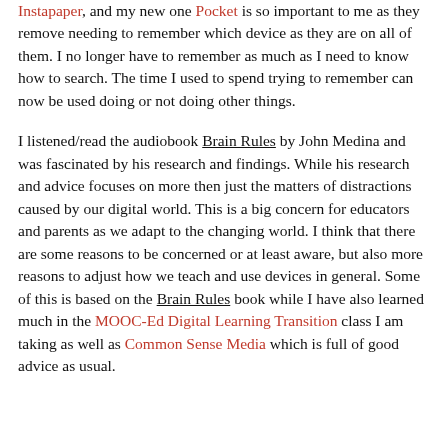Instapaper, and my new one Pocket is so important to me as they remove needing to remember which device as they are on all of them. I no longer have to remember as much as I need to know how to search. The time I used to spend trying to remember can now be used doing or not doing other things.
I listened/read the audiobook Brain Rules by John Medina and was fascinated by his research and findings. While his research and advice focuses on more then just the matters of distractions caused by our digital world. This is a big concern for educators and parents as we adapt to the changing world. I think that there are some reasons to be concerned or at least aware, but also more reasons to adjust how we teach and use devices in general. Some of this is based on the Brain Rules book while I have also learned much in the MOOC-Ed Digital Learning Transition class I am taking as well as Common Sense Media which is full of good advice as usual.